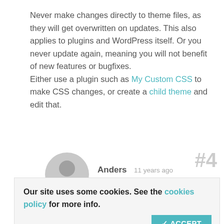Never make changes directly to theme files, as they will get overwritten on updates. This also applies to plugins and WordPress itself. Or you never update again, meaning you will not benefit of new features or bugfixes.
Either use a plugin such as My Custom CSS to make CSS changes, or create a child theme and edit that.
#4
[Figure (illustration): Gray circular user avatar icon]
Anders   11 years ago
Our site uses some cookies. See the cookies policy for more info.
Well, I have spended the last hours to... nd its now functionally as I wanted it. I have made backups for all files so if there is another update coming I can use copy-paste to get back to style.. or